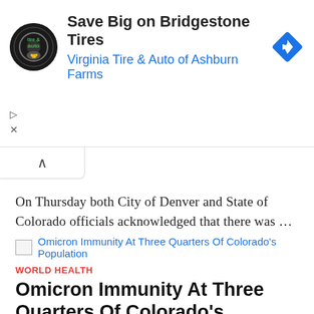[Figure (other): Advertisement banner for Virginia Tire & Auto of Ashburn Farms featuring Bridgestone Tires, with circular logo, ad title, subtitle link, and a blue diamond navigation icon. Includes small play and close control icons on the left.]
[Figure (other): Collapse/minimize button with upward caret arrow symbol]
On Thursday both City of Denver and State of Colorado officials acknowledged that there was …
[Figure (other): Thumbnail image placeholder with blue link text: Omicron Immunity At Three Quarters Of Colorado's Population]
WORLD HEALTH
Omicron Immunity At Three Quarters Of Colorado's Population
0